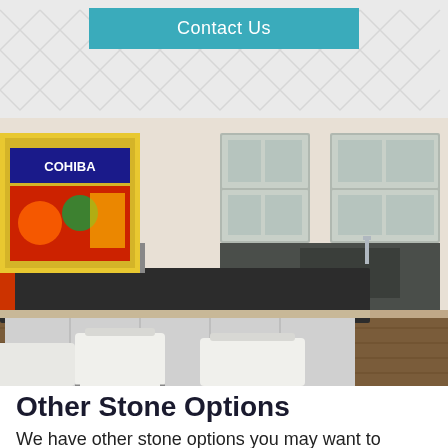Contact Us
[Figure (photo): Kitchen with dark granite countertop island, white bar stools, gray cabinets with glass fronts, and hardwood floors. A Cohiba poster is visible on the left wall.]
Other Stone Options
We have other stone options you may want to consider besides Granite. Be sure to